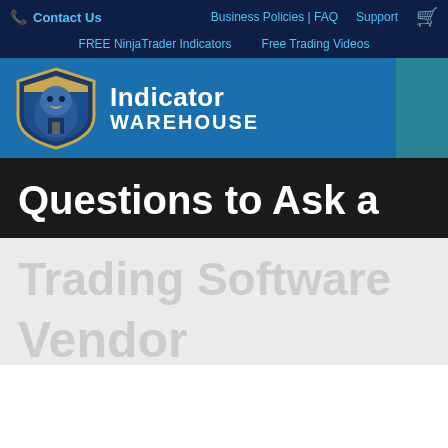Contact Us | Business Policies | FAQ | Support
FREE NinjaTrader Indicators | Free Trading Videos
[Figure (logo): Indicator Warehouse logo — shield with tiger/panther graphic in blue and gold, with text 'Indicator WAREHOUSE']
Questions to Ask a
Trading Software
Vendor